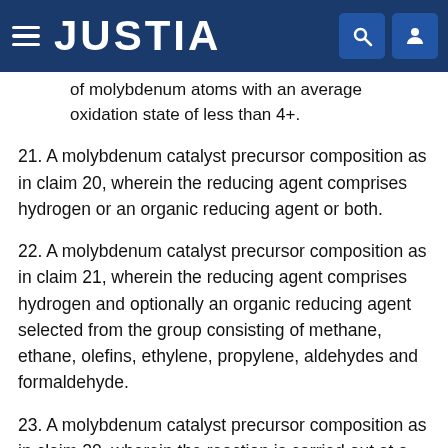JUSTIA
of molybdenum atoms with an average oxidation state of less than 4+.
21. A molybdenum catalyst precursor composition as in claim 20, wherein the reducing agent comprises hydrogen or an organic reducing agent or both.
22. A molybdenum catalyst precursor composition as in claim 21, wherein the reducing agent comprises hydrogen and optionally an organic reducing agent selected from the group consisting of methane, ethane, olefins, ethylene, propylene, aldehydes and formaldehyde.
23. A molybdenum catalyst precursor composition as in claim 20, wherein the reaction is carried out at a temperature above about 100° C. such that water in the reaction product is removed as the reaction product is